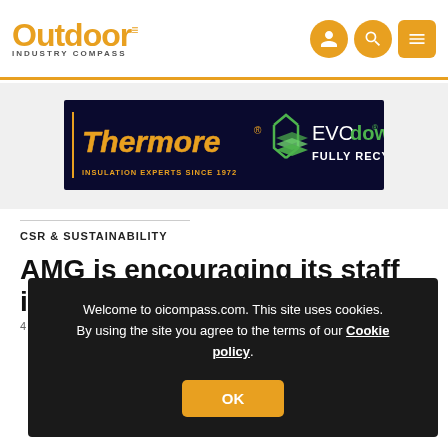Outdoor Industry Compass
[Figure (illustration): Thermore EVOdown - Insulation Experts Since 1972, Fully Recycled advertisement banner on dark navy background]
CSR & SUSTAINABILITY
AMG is encouraging its staff in S...
4 A...
[Figure (screenshot): Cookie consent overlay: 'Welcome to oicompass.com. This site uses cookies. By using the site you agree to the terms of our Cookie policy.' with OK button]